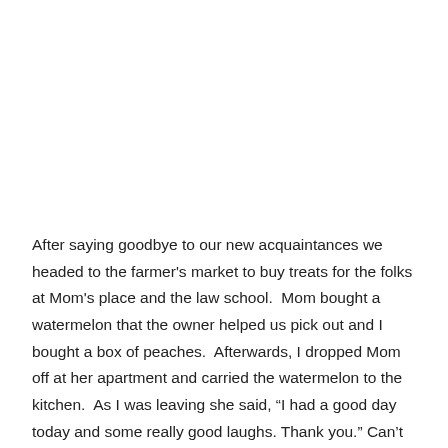After saying goodbye to our new acquaintances we headed to the farmer's market to buy treats for the folks at Mom's place and the law school.  Mom bought a watermelon that the owner helped us pick out and I bought a box of peaches.  Afterwards, I dropped Mom off at her apartment and carried the watermelon to the kitchen.  As I was leaving she said, “I had a good day today and some really good laughs. Thank you.” Can’t ask for more that that.